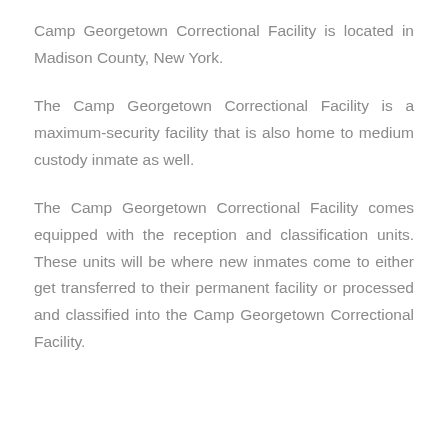Camp Georgetown Correctional Facility is located in Madison County, New York.
The Camp Georgetown Correctional Facility is a maximum-security facility that is also home to medium custody inmate as well.
The Camp Georgetown Correctional Facility comes equipped with the reception and classification units. These units will be where new inmates come to either get transferred to their permanent facility or processed and classified into the Camp Georgetown Correctional Facility.